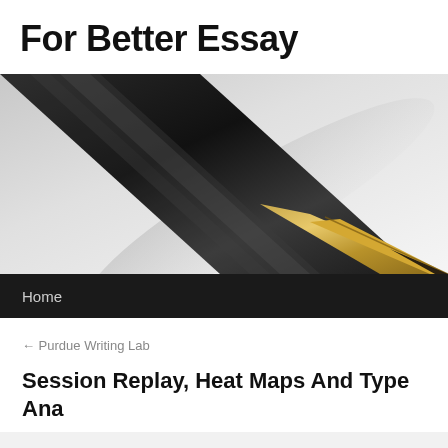For Better Essay
[Figure (photo): Close-up photograph of a black and gold fountain pen nib resting on white paper, viewed from above at an angle, with the nib in sharp focus against a light grey background.]
Home
← Purdue Writing Lab
Session Replay, Heat Maps And Type Ana